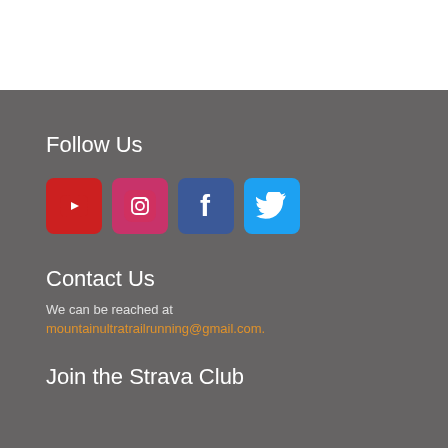Follow Us
[Figure (infographic): Four social media icon buttons in a row: YouTube (red), Instagram (pink/red), Facebook (blue), Twitter (light blue)]
Contact Us
We can be reached at mountainultratrailrunning@gmail.com.
Join the Strava Club